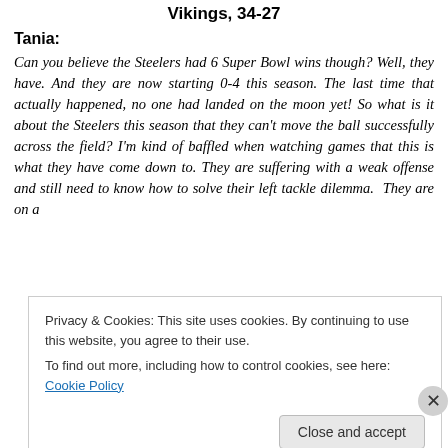Vikings, 34-27
Tania:
Can you believe the Steelers had 6 Super Bowl wins though? Well, they have. And they are now starting 0-4 this season. The last time that actually happened, no one had landed on the moon yet! So what is it about the Steelers this season that they can't move the ball successfully across the field? I'm kind of baffled when watching games that this is what they have come down to. They are suffering with a weak offense and still need to know how to solve their left tackle dilemma. They are on a
Privacy & Cookies: This site uses cookies. By continuing to use this website, you agree to their use.
To find out more, including how to control cookies, see here: Cookie Policy
Close and accept
Advertisements